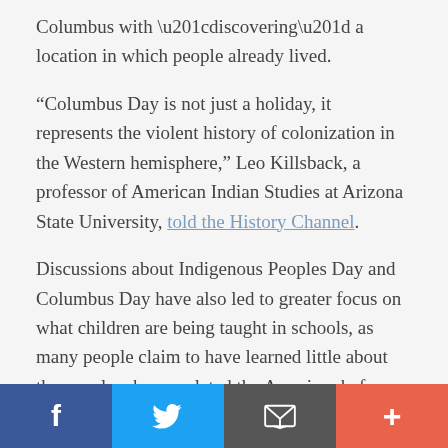Columbus with “discovering” a location in which people already lived.
“Columbus Day is not just a holiday, it represents the violent history of colonization in the Western hemisphere,” Leo Killsback, a professor of American Indian Studies at Arizona State University, told the History Channel.
Discussions about Indigenous Peoples Day and Columbus Day have also led to greater focus on what children are being taught in schools, as many people claim to have learned little about the people who populated the Americas before Columbus’ arrival.
Shannon Speed, the director of the American Indian
Facebook | Twitter | Email | More